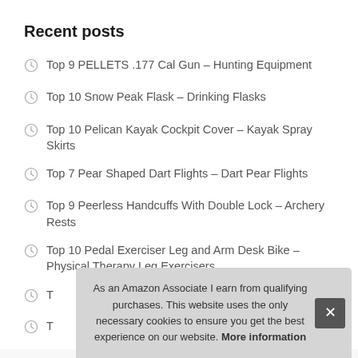Recent posts
Top 9 PELLETS .177 Cal Gun – Hunting Equipment
Top 10 Snow Peak Flask – Drinking Flasks
Top 10 Pelican Kayak Cockpit Cover – Kayak Spray Skirts
Top 7 Pear Shaped Dart Flights – Dart Pear Flights
Top 9 Peerless Handcuffs With Double Lock – Archery Rests
Top 10 Pedal Exerciser Leg and Arm Desk Bike – Physical Therapy Leg Exercisers
T…
T…
As an Amazon Associate I earn from qualifying purchases. This website uses the only necessary cookies to ensure you get the best experience on our website. More information